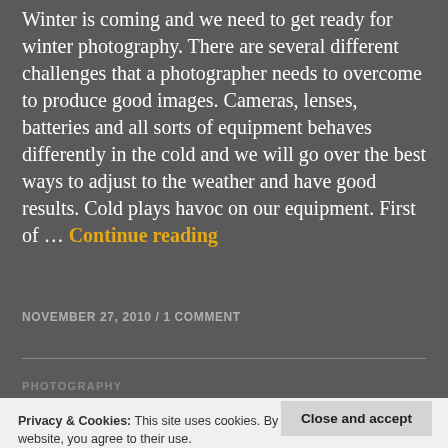Winter is coming and we need to get ready for winter photography. There are several different challenges that a photographer needs to overcome to produce good images. Cameras, lenses, batteries and all sorts of equipment behaves differently in the cold and we will go over the best ways to adjust to the weather and have good results. Cold plays havoc on our equipment. First of ... Continue reading
NOVEMBER 27, 2010 / 1 COMMENT
PHOTOGRAPHY
Privacy & Cookies: This site uses cookies. By continuing to use this website, you agree to their use. To find out more, including how to control cookies, see here: Cookie Policy
Close and accept
similar problems with discouraging and you just don't